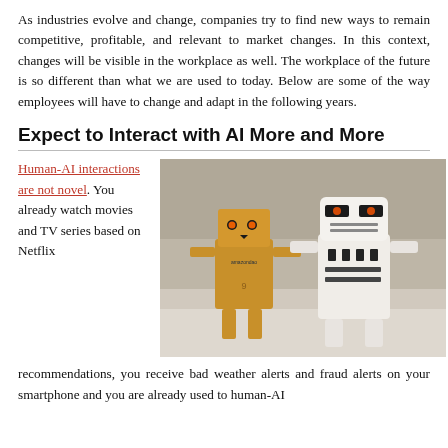As industries evolve and change, companies try to find new ways to remain competitive, profitable, and relevant to market changes. In this context, changes will be visible in the workplace as well. The workplace of the future is so different than what we are used to today. Below are some of the way employees will have to change and adapt in the following years.
Expect to Interact with AI More and More
Human-AI interactions are not novel. You already watch movies and TV series based on Netflix recommendations, you receive bad weather alerts and fraud alerts on your smartphone and you are already used to human-AI
[Figure (photo): Two toy robots standing together — a cardboard Amazon Danbo robot with glowing orange eyes on the left, and a Star Wars Stormtrooper toy robot on the right, photographed in a blurred outdoor background.]